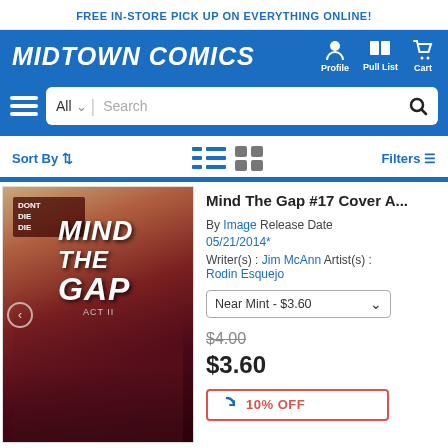FREE IN-STORE PICK UP ON EVERYTHING ONLINE!
MIDTOWN COMICS
Profile  Pull List  Cart
All  Search
Sort By  Filters
[Figure (screenshot): Comic book cover for Mind The Gap #17, showing a woman in a red dress with text 'DONT DIE DIE' and 'MIND THE GAP ACT II']
Mind The Gap #17 Cover A...
By Image Release Date 05/21/2014*
Writer(s) : Jim McAnn  Artist(s) : Rodin Esquejo
Near Mint - $3.60
$4.00
$3.60
10% OFF